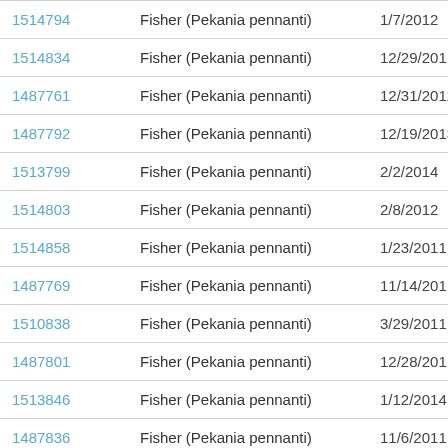| ID | Species | Date | Source |
| --- | --- | --- | --- |
| 1514794 | Fisher (Pekania pennanti) | 1/7/2012 | idfg-mlu |
| 1514834 | Fisher (Pekania pennanti) | 12/29/2011 | idfg-mlu |
| 1487761 | Fisher (Pekania pennanti) | 12/31/2012 | idfg-mlu |
| 1487792 | Fisher (Pekania pennanti) | 12/19/2013 | idfg-mlu |
| 1513799 | Fisher (Pekania pennanti) | 2/2/2014 | idfg-mlu |
| 1514803 | Fisher (Pekania pennanti) | 2/8/2012 | idfg-mlu |
| 1514858 | Fisher (Pekania pennanti) | 1/23/2011 | idfg-mlu |
| 1487769 | Fisher (Pekania pennanti) | 11/14/2011 | idfg-mlu |
| 1510838 | Fisher (Pekania pennanti) | 3/29/2011 | idfg-mlu |
| 1487801 | Fisher (Pekania pennanti) | 12/28/2011 | idfg-mlu |
| 1513846 | Fisher (Pekania pennanti) | 1/12/2014 | idfg-mlu |
| 1487836 | Fisher (Pekania pennanti) | 11/6/2011 | idfg-mlu |
| 1514820 | Fisher (Pekania pennanti) | 2/3/2011 | idfg-mlu |